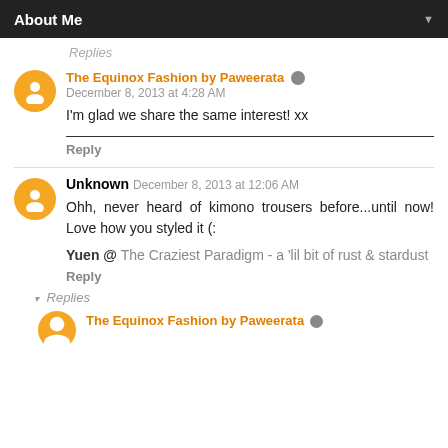About Me
Replies
The Equinox Fashion by Paweerata
December 8, 2013 at 4:28 AM
I'm glad we share the same interest! xx
Reply
Unknown  December 8, 2013 at 12:06 AM
Ohh, never heard of kimono trousers before...until now! Love how you styled it (:
Yuen @ The Craziest Paradigm - a 'lil bit of rust & stardust
Reply
Replies
The Equinox Fashion by Paweerata